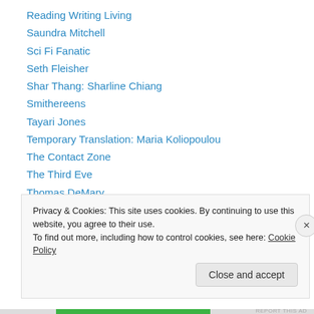Reading Writing Living
Saundra Mitchell
Sci Fi Fanatic
Seth Fleisher
Shar Thang: Sharline Chiang
Smithereens
Tayari Jones
Temporary Translation: Maria Koliopoulou
The Contact Zone
The Third Eve
Thomas DeMary
Venita Blackburn
wmc
Privacy & Cookies: This site uses cookies. By continuing to use this website, you agree to their use. To find out more, including how to control cookies, see here: Cookie Policy